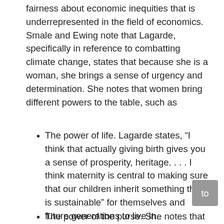fairness about economic inequities that is underrepresented in the field of economics. Smale and Ewing note that Lagarde, specifically in reference to combatting climate change, states that because she is a woman, she brings a sense of urgency and determination. She notes that women bring different powers to the table, such as
The power of life. Lagarde states, “I think that actually giving birth gives you a sense of prosperity, heritage. . . . I think maternity is central to making sure that our children inherit something that is sustainable” for themselves and future generations to live in.
The power of the purse. She notes that